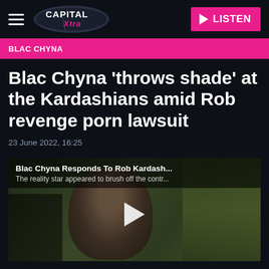Capital Xtra — LISTEN
BLAC CHYNA
Blac Chyna 'throws shade' at the Kardashians amid Rob revenge porn lawsuit
23 June 2022, 16:25
[Figure (screenshot): Video thumbnail showing Blac Chyna outdoors with overlay text: 'Blac Chyna Responds To Rob Kardash...' and 'The reality star appeared to brush off the contr...' with a play button in the center.]